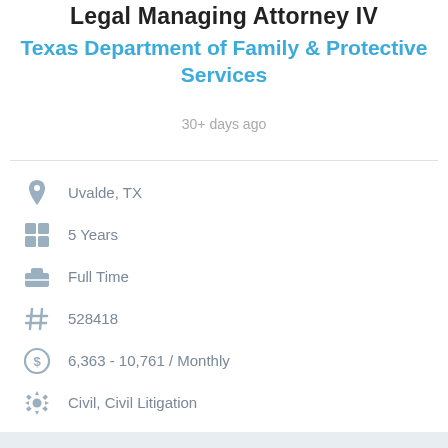Legal Managing Attorney IV
Texas Department of Family & Protective Services
30+ days ago
Uvalde, TX
5 Years
Full Time
528418
6,363 - 10,761 / Monthly
Civil, Civil Litigation